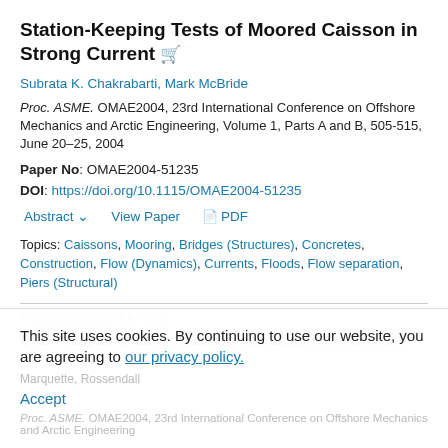Station-Keeping Tests of Moored Caisson in Strong Current
Subrata K. Chakrabarti, Mark McBride
Proc. ASME. OMAE2004, 23rd International Conference on Offshore Mechanics and Arctic Engineering, Volume 1, Parts A and B, 505-515, June 20–25, 2004
Paper No: OMAE2004-51235
DOI: https://doi.org/10.1115/OMAE2004-51235
Abstract   View Paper   PDF
Topics: Caissons, Mooring, Bridges (Structures), Concretes, Construction, Flow (Dynamics), Currents, Floods, Flow separation, Piers (Structural)
PROCEEDINGS PAPERS
CFD Analysis of Large Caisson Interaction With Current
This site uses cookies. By continuing to use our website, you are agreeing to our privacy policy.
Accept